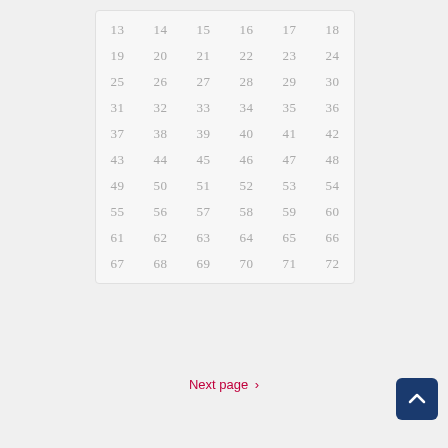| 13 | 14 | 15 | 16 | 17 | 18 |
| 19 | 20 | 21 | 22 | 23 | 24 |
| 25 | 26 | 27 | 28 | 29 | 30 |
| 31 | 32 | 33 | 34 | 35 | 36 |
| 37 | 38 | 39 | 40 | 41 | 42 |
| 43 | 44 | 45 | 46 | 47 | 48 |
| 49 | 50 | 51 | 52 | 53 | 54 |
| 55 | 56 | 57 | 58 | 59 | 60 |
| 61 | 62 | 63 | 64 | 65 | 66 |
| 67 | 68 | 69 | 70 | 71 | 72 |
Next page >